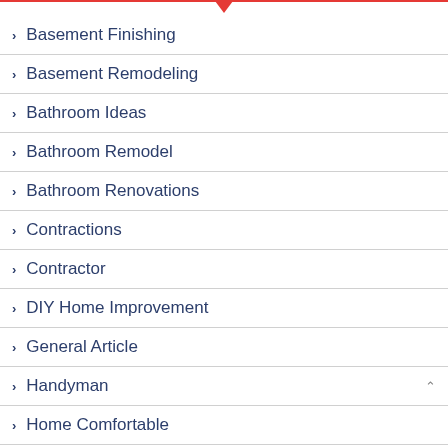Basement Finishing
Basement Remodeling
Bathroom Ideas
Bathroom Remodel
Bathroom Renovations
Contractions
Contractor
DIY Home Improvement
General Article
Handyman
Home Comfortable